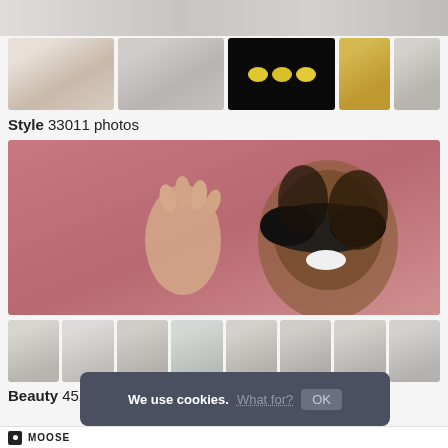[Figure (screenshot): Top strip partial image showing a desk/keyboard scene cropped at top]
[Figure (screenshot): Row of 5 thumbnail photos: man with dog, two women, lemons on black background, woman with camera, dog]
Style  33011 photos
[Figure (photo): Main large photo: woman with black mask on pink background reaching hand toward camera]
[Figure (screenshot): Row of 8 small thumbnails showing beauty-related photos of people]
Beauty  4527 photos
We use cookies.  What for?  OK
MOOSE